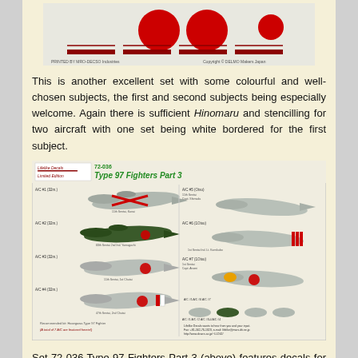[Figure (photo): Top portion of a decal sheet showing red roundels (hinomaru) and striped markings on a light background, with printed text at bottom indicating MRO and copyright Delmo Makers Japan.]
This is another excellent set with some colourful and well-chosen subjects, the first and second subjects being especially welcome. Again there is sufficient Hinomaru and stencilling for two aircraft with one set being white bordered for the first subject.
[Figure (illustration): Lifelike Decals set 72-036 Type 97 Fighters Part 3 decal instruction sheet showing profile views of seven Ki-27 aircraft in various markings and color schemes, with labels and notes in English and Japanese.]
Set 72-036 Type 97 Fighters Part 3 (above) features decals for seven subjects as follows:-
Ki-27 of Sgt Moritsugu Kanai, 11th Sentai, Nanking,